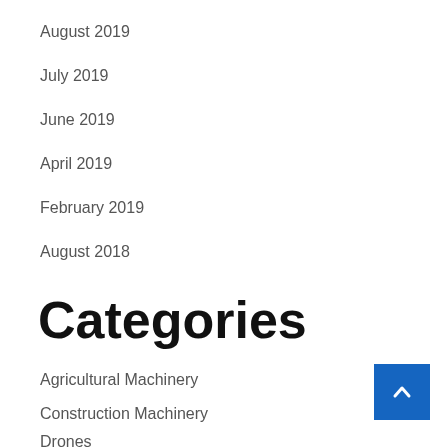August 2019
July 2019
June 2019
April 2019
February 2019
August 2018
Categories
Agricultural Machinery
Construction Machinery
Drones